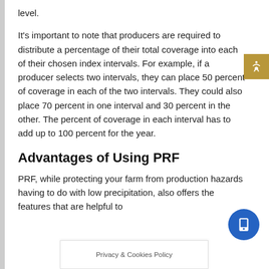level.
It's important to note that producers are required to distribute a percentage of their total coverage into each of their chosen index intervals. For example, if a producer selects two intervals, they can place 50 percent of coverage in each of the two intervals. They could also place 70 percent in one interval and 30 percent in the other. The percent of coverage in each interval has to add up to 100 percent for the year.
Advantages of Using PRF
PRF, while protecting your farm from production hazards having to do with low precipitation, also offers the features that are helpful to